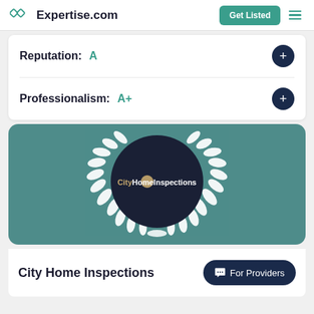Expertise.com | Get Listed
Reputation: A
Professionalism: A+
[Figure (logo): CityHomeInspections award badge with laurel wreath on teal background]
City Home Inspections
For Providers